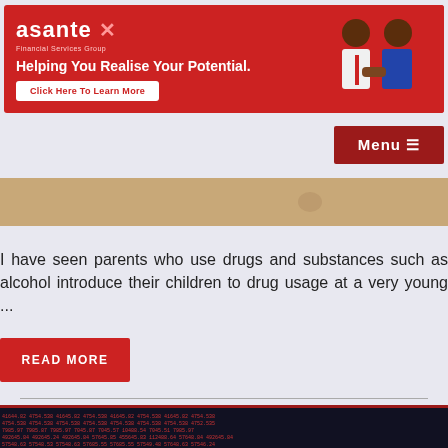[Figure (advertisement): Asante Financial Services Group advertisement banner in red with text 'Helping You Realise Your Potential.' and 'Click Here To Learn More' button, with illustrated figures of two people shaking hands on the right]
[Figure (other): Navigation menu button with 'Menu' text and hamburger icon on dark red background]
[Figure (photo): Image strip showing sandy/earth-tone background with website label www.snkodirectory.com]
I have seen parents who use drugs and substances such as alcohol introduce their children to drug usage at a very young ...
[Figure (other): Red 'READ MORE' button]
Kenya's Inflation Drops to 5% in August, but Food Insecurity Worsens
[Figure (screenshot): Bottom strip showing financial data numbers on dark background]